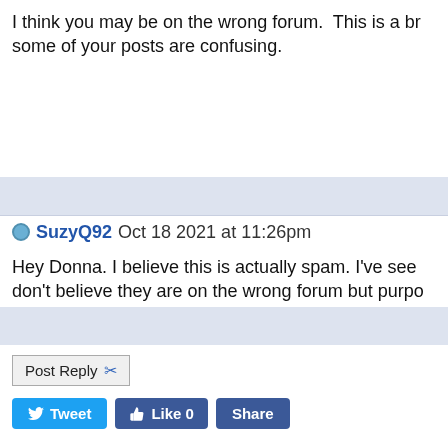I think you may be on the wrong forum.  This is a br... some of your posts are confusing.
SuzyQ92 Oct 18 2021 at 11:26pm
Hey Donna. I believe this is actually spam. I've see... don't believe they are on the wrong forum but purpo...
Post Reply
Tweet  Like 0  Share
Forum Jump  -- Select Forum --